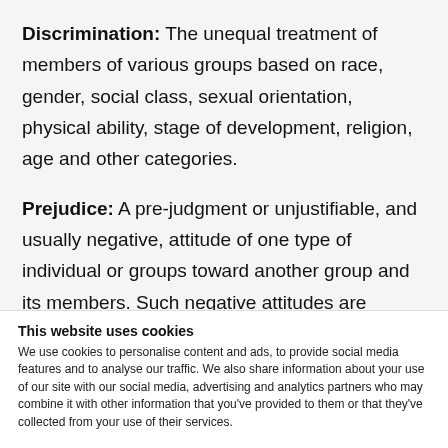Discrimination: The unequal treatment of members of various groups based on race, gender, social class, sexual orientation, physical ability, stage of development, religion, age and other categories.
Prejudice: A pre-judgment or unjustifiable, and usually negative, attitude of one type of individual or groups toward another group and its members. Such negative attitudes are typically based on unsupported generalizations (or stereotypes) that
This website uses cookies
We use cookies to personalise content and ads, to provide social media features and to analyse our traffic. We also share information about your use of our site with our social media, advertising and analytics partners who may combine it with other information that you've provided to them or that they've collected from your use of their services.